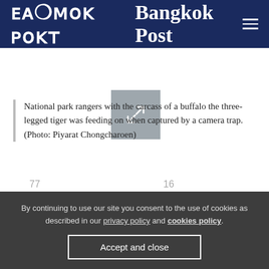Bangkok Post
[Figure (photo): Gray expand/enlarge button icon with diagonal arrows]
National park rangers with the carcass of a buffalo the three-legged tiger was feeding on when captured by a camera trap. (Photo: Piyarat Chongcharoen)
[Figure (infographic): Social share icons: Facebook (77 shares), Twitter, LINE, Comment (16)]
TRENDING
By continuing to use our site you consent to the use of cookies as described in our privacy policy and cookies policy.
Accept and close